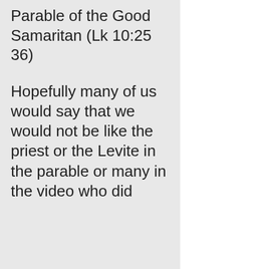Parable of the Good Samaritan (Lk 10:25 36)
Hopefully many of us would say that we would not be like the priest or the Levite in the parable or many in the video who did